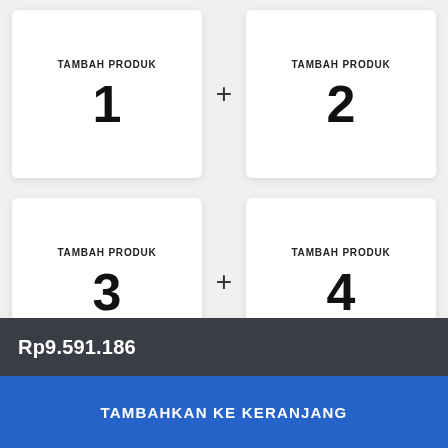TAMBAH PRODUK 1
TAMBAH PRODUK 2
TAMBAH PRODUK 3
TAMBAH PRODUK 4
Rp9.591.186
TAMBAHKAN KE KERANJANG